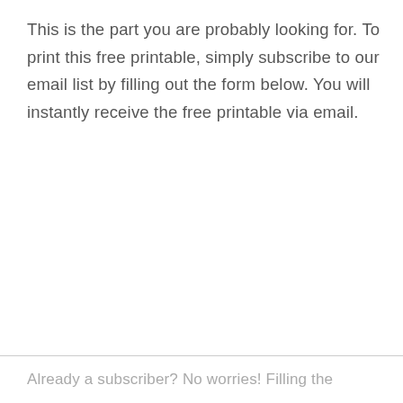This is the part you are probably looking for. To print this free printable, simply subscribe to our email list by filling out the form below. You will instantly receive the free printable via email.
Already a subscriber? No worries! Filling the